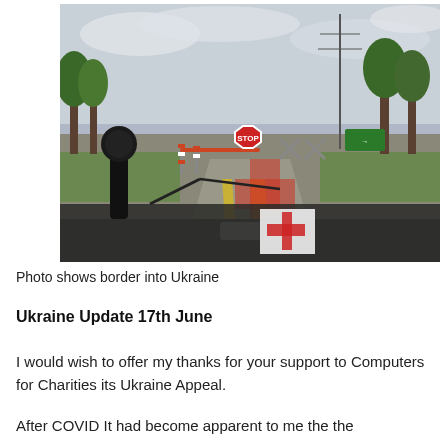[Figure (photo): View from inside a vehicle looking through the windshield at a border checkpoint into Ukraine. Visible are barriers, a red stop sign, fencing with X shapes, green trees, power lines, overcast sky. A Red Cross symbol is visible on a document on the dashboard and reflected in the windshield.]
Photo shows border into Ukraine
Ukraine Update 17th June
I would wish to offer my thanks for your support to Computers for Charities its Ukraine Appeal.
After COVID It had become apparent to me the the